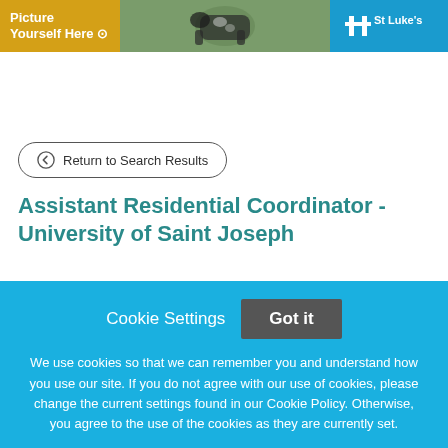[Figure (screenshot): Website banner with yellow left section ('Yourself Here'), green center with farm photo, and blue right section with St Luke's logo]
Return to Search Results
Assistant Residential Coordinator - University of Saint Joseph
Cookie Settings  Got it
We use cookies so that we can remember you and understand how you use our site. If you do not agree with our use of cookies, please change the current settings found in our Cookie Policy. Otherwise, you agree to the use of the cookies as they are currently set.